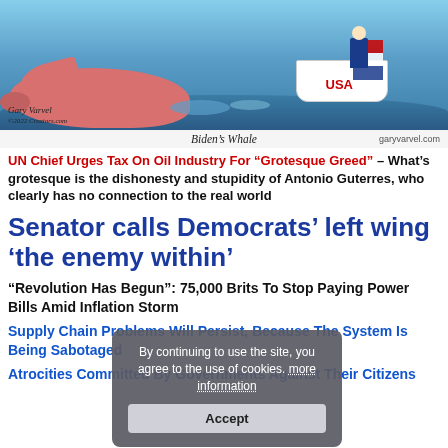[Figure (illustration): Political cartoon titled 'Biden's Whale' by garyvarvel.com showing a whale in ocean water with a USA boat on top and a figure in it. Artist signature visible in lower left.]
Biden's Whale                                                    garyvarvel.com
UN Chief Urges Tax On Oil Industry For “Grotesque Greed” – What’s grotesque is the dishonesty and stupidity of Antonio Guterres, who clearly has no connection to the real world
Senator calls Democrats’ left wing ‘the enemy within’
“Revolution Has Begun”: 75,000 Brits To Stop Paying Power Bills Amid Inflation Storm
Supply Chain Problems Will Persist, Because The System Is Being Sabotaged
Atrocities Committed By Governments Against Their Citizens